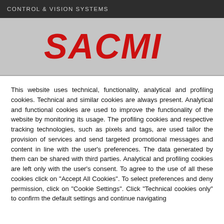CONTROL & VISION SYSTEMS
[Figure (logo): SACMI logo in large bold red italic text on a light grey background]
This website uses technical, functionality, analytical and profiling cookies. Technical and similar cookies are always present. Analytical and functional cookies are used to improve the functionality of the website by monitoring its usage. The profiling cookies and respective tracking technologies, such as pixels and tags, are used tailor the provision of services and send targeted promotional messages and content in line with the user's preferences. The data generated by them can be shared with third parties. Analytical and profiling cookies are left only with the user's consent. To agree to the use of all these cookies click on "Accept All Cookies". To select preferences and deny permission, click on "Cookie Settings". Click "Technical cookies only" to confirm the default settings and continue navigating